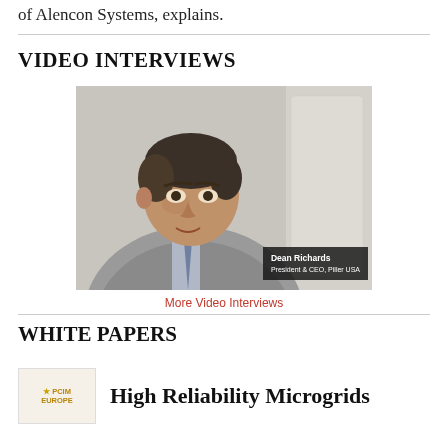of Alencon Systems, explains.
VIDEO INTERVIEWS
[Figure (photo): Video thumbnail showing Dean Richards, President & CEO, Piller USA, a man in a grey suit with blue tie seated, with name overlay in bottom right corner]
More Video Interviews
WHITE PAPERS
High Reliability Microgrids